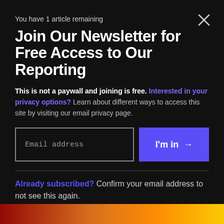You have 1 article remaining
Join Our Newsletter for Free Access to Our Reporting
This is not a paywall and joining is free. Interested in your privacy options? Learn about different ways to access this site by visiting our email privacy page.
Email address
I'm in →
Already subscribed? Confirm your email address to not see this again.
By signing up, I agree to receive emails from The Intercept and to the Privacy Policy and Terms of Use.